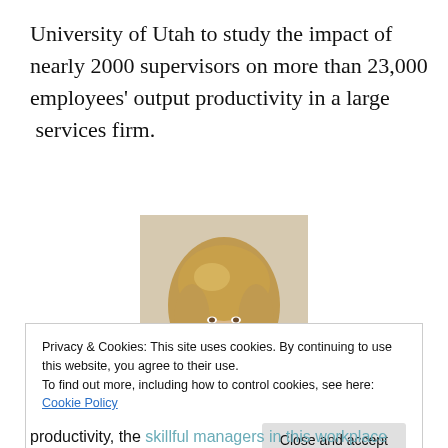University of Utah to study the impact of nearly 2000 supervisors on more than 23,000 employees' output productivity in a large  services firm.
[Figure (photo): Portrait photo of Kathryn Shaw, a woman with shoulder-length blonde hair, smiling, wearing a teal/blue top.]
Kathryn
Shaw
Privacy & Cookies: This site uses cookies. By continuing to use this website, you agree to their use.
To find out more, including how to control cookies, see here: Cookie Policy
productivity, the skillful managers in this workplace